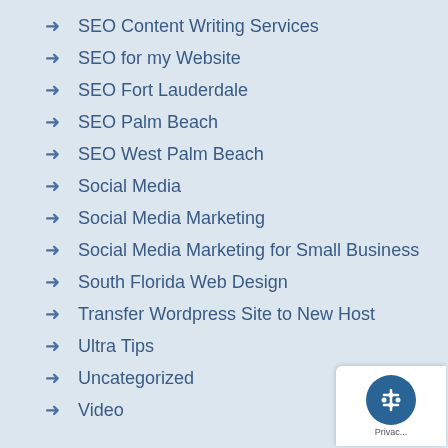SEO Content Writing Services
SEO for my Website
SEO Fort Lauderdale
SEO Palm Beach
SEO West Palm Beach
Social Media
Social Media Marketing
Social Media Marketing for Small Business
South Florida Web Design
Transfer Wordpress Site to New Host
Ultra Tips
Uncategorized
Video